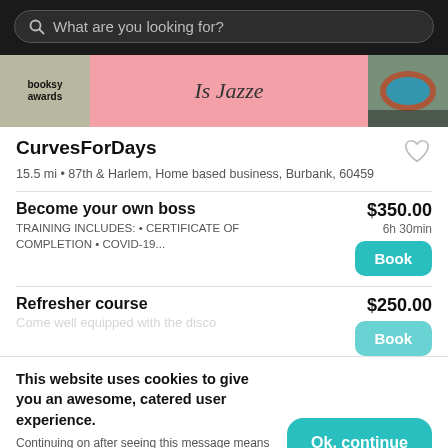What are you looking for?
[Figure (screenshot): Booksy app banner showing booksy awards logo on left, pink center with italic text 'Is Jazze', and photo of colorful sneakers on right]
CurvesForDays
15.5 mi • 87th & Harlem, Home based business, Burbank, 60459
Become your own boss
TRAINING INCLUDES: • CERTIFICATE OF COMPLETION • COVID-19...
$350.00
6h 30min
Refresher course
$250.00
This website uses cookies to give you an awesome, catered user experience.
Continuing on after seeing this message means that you're cool with that.
Ok, continue
Your Booksy   Explore   Appointments   Profile